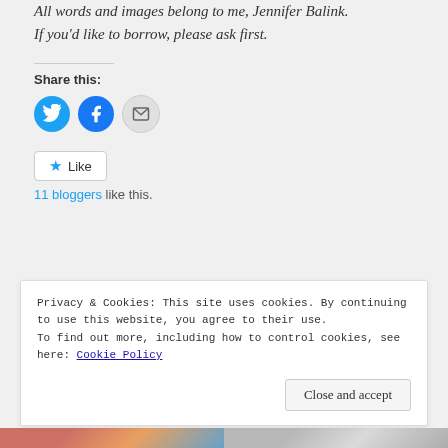All words and images belong to me, Jennifer Balink. If you'd like to borrow, please ask first.
Share this:
[Figure (infographic): Three social share buttons: Twitter (blue circle with bird icon), Facebook (blue circle with f icon), Email (gray circle with envelope icon)]
[Figure (infographic): Like button with star icon and text 'Like']
11 bloggers like this.
Privacy & Cookies: This site uses cookies. By continuing to use this website, you agree to their use. To find out more, including how to control cookies, see here: Cookie Policy
Close and accept